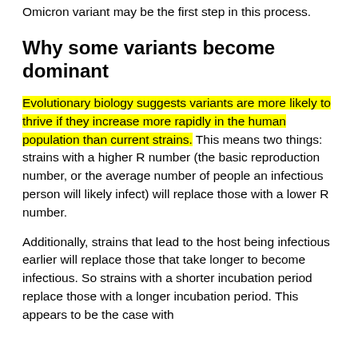Omicron variant may be the first step in this process.
Why some variants become dominant
Evolutionary biology suggests variants are more likely to thrive if they increase more rapidly in the human population than current strains. This means two things: strains with a higher R number (the basic reproduction number, or the average number of people an infectious person will likely infect) will replace those with a lower R number.
Additionally, strains that lead to the host being infectious earlier will replace those that take longer to become infectious. So strains with a shorter incubation period replace those with a longer incubation period. This appears to be the case with